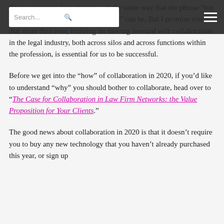Search... [search icon] [hamburger menu]
things were way less attractive, in the same way that the phrase “but this is the way we’ve always done it!” can be. But I promise you that more than ever, insisting on moving forward with collaboration in the legal industry, both across silos and across functions within the profession, is essential for us to be successful.
Before we get into the “how” of collaboration in 2020, if you’d like to understand “why” you should bother to collaborate, head over to “The Case for Collaboration in Law Firm Networks: the Value Proposition for Your Clients.”
The good news about collaboration in 2020 is that it doesn’t require you to buy any new technology that you haven’t already purchased this year, or sign up for a new subscription or service to collaborate.